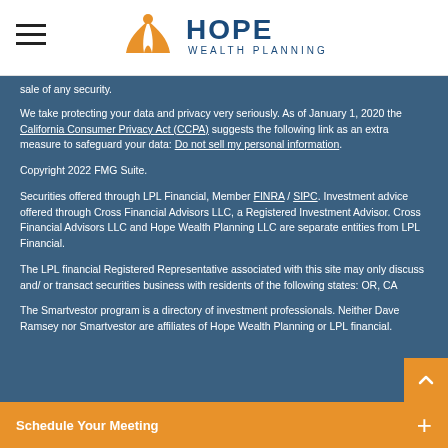[Figure (logo): Hope Wealth Planning logo with orange bird/flame icon and blue HOPE WEALTH PLANNING text]
sale of any security.
We take protecting your data and privacy very seriously. As of January 1, 2020 the California Consumer Privacy Act (CCPA) suggests the following link as an extra measure to safeguard your data: Do not sell my personal information.
Copyright 2022 FMG Suite.
Securities offered through LPL Financial, Member FINRA / SIPC. Investment advice offered through Cross Financial Advisors LLC, a Registered Investment Advisor. Cross Financial Advisors LLC and Hope Wealth Planning LLC are separate entities from LPL Financial.
The LPL financial Registered Representative associated with this site may only discuss and/ or transact securities business with residents of the following states: OR, CA
The Smartvestor program is a directory of investment professionals. Neither Dave Ramsey nor Smartvestor are affiliates of Hope Wealth Planning or LPL financial.
Schedule Your Meeting